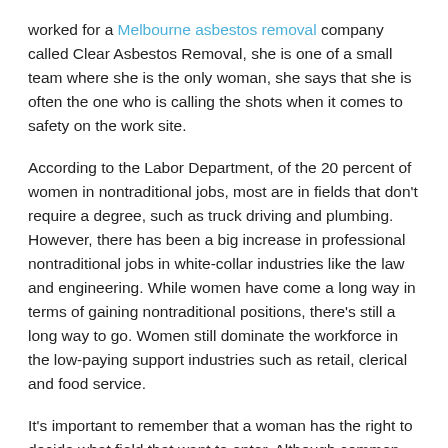worked for a Melbourne asbestos removal company called Clear Asbestos Removal, she is one of a small team where she is the only woman, she says that she is often the one who is calling the shots when it comes to safety on the work site.
According to the Labor Department, of the 20 percent of women in nontraditional jobs, most are in fields that don't require a degree, such as truck driving and plumbing. However, there has been a big increase in professional nontraditional jobs in white-collar industries like the law and engineering. While women have come a long way in terms of gaining nontraditional positions, there's still a long way to go. Women still dominate the workforce in the low-paying support industries such as retail, clerical and food service.
It's important to remember that a woman has the right to decide what field that want to enter. Although common myths say that security jobs are too dangerous, women aren't cut out to do certain tasks, blue collar work is too messy or some jobs aren't feminine enough, no one should prevent a woman from choosing any career path that interests her.